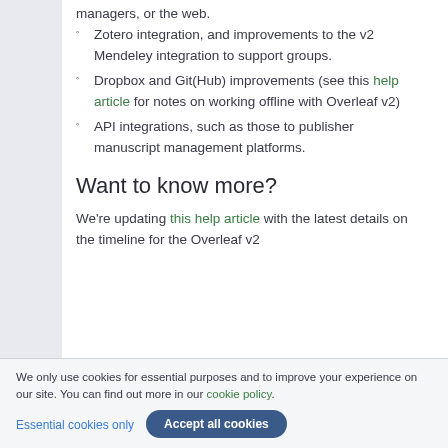managers, or the web.
Zotero integration, and improvements to the v2 Mendeley integration to support groups.
Dropbox and Git(Hub) improvements (see this help article for notes on working offline with Overleaf v2)
API integrations, such as those to publisher manuscript management platforms.
Want to know more?
We're updating this help article with the latest details on the timeline for the Overleaf v2
We only use cookies for essential purposes and to improve your experience on our site. You can find out more in our cookie policy.
Essential cookies only   Accept all cookies